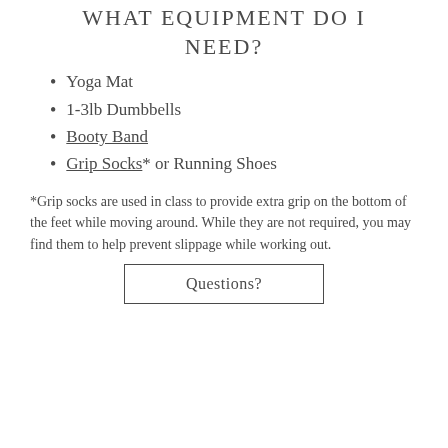WHAT EQUIPMENT DO I NEED?
Yoga Mat
1-3lb Dumbbells
Booty Band
Grip Socks* or Running Shoes
*Grip socks are used in class to provide extra grip on the bottom of the feet while moving around. While they are not required, you may find them to help prevent slippage while working out.
Questions?